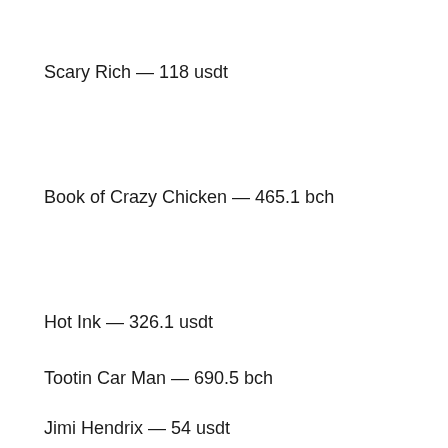Scary Rich — 118 usdt
Book of Crazy Chicken — 465.1 bch
Hot Ink — 326.1 usdt
Tootin Car Man — 690.5 bch
Jimi Hendrix — 54 usdt